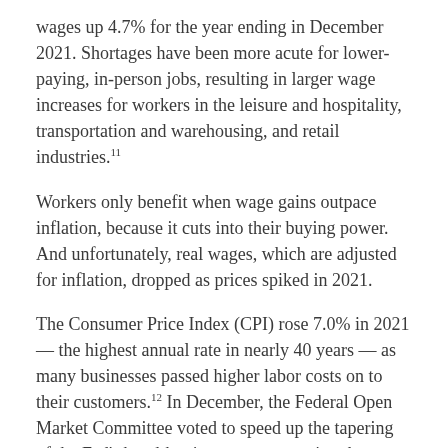wages up 4.7% for the year ending in December 2021. Shortages have been more acute for lower-paying, in-person jobs, resulting in larger wage increases for workers in the leisure and hospitality, transportation and warehousing, and retail industries.[11]
Workers only benefit when wage gains outpace inflation, because it cuts into their buying power. And unfortunately, real wages, which are adjusted for inflation, dropped as prices spiked in 2021.
The Consumer Price Index (CPI) rose 7.0% in 2021 — the highest annual rate in nearly 40 years — as many businesses passed higher labor costs on to their customers.[12] In December, the Federal Open Market Committee voted to speed up the tapering of the Fed's bond-buying program, setting the stage to begin raising interest rates more aggressively in response to persistent inflation.[13] The dilemma for Fed officials is that they don't want to raise interest